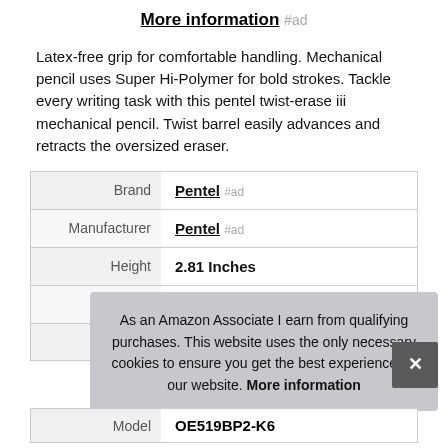More information #ad
Latex-free grip for comfortable handling. Mechanical pencil uses Super Hi-Polymer for bold strokes. Tackle every writing task with this pentel twist-erase iii mechanical pencil. Twist barrel easily advances and retracts the oversized eraser.
|  |  |
| --- | --- |
| Brand | Pentel #ad |
| Manufacturer | Pentel #ad |
| Height | 2.81 Inches |
| Length | 0.5 Inches |
| P |  |
| Model | OE519BP2-K6 |
As an Amazon Associate I earn from qualifying purchases. This website uses the only necessary cookies to ensure you get the best experience on our website. More information